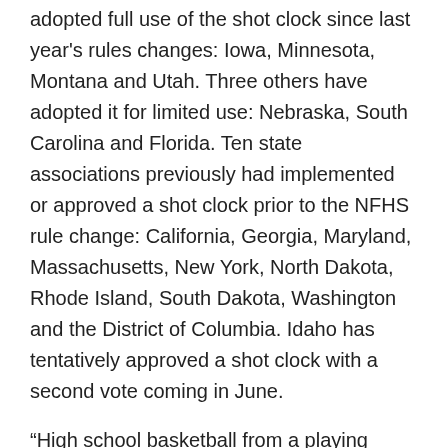adopted full use of the shot clock since last year's rules changes: Iowa, Minnesota, Montana and Utah. Three others have adopted it for limited use: Nebraska, South Carolina and Florida. Ten state associations previously had implemented or approved a shot clock prior to the NFHS rule change: California, Georgia, Maryland, Massachusetts, New York, North Dakota, Rhode Island, South Dakota, Washington and the District of Columbia. Idaho has tentatively approved a shot clock with a second vote coming in June.
“High school basketball from a playing rules perspective is in a good place,” said Billy Strickland, executive director of the Alaska School Activities Association and chair of the Basketball Rules Committee. “The Committee spent a significant amount of time during our April meeting discussing future rule proposals, an